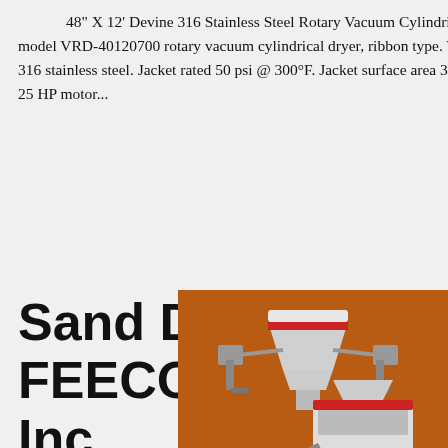48" X 12' Devine 316 Stainless Steel Rotary Vacuum Cylindrical Dryer. Stock #7371-1. Used Devine model VRD-40120700 rotary vacuum cylindrical dryer, ribbon type. Working capacity 84 cubic foot. Shell type 316 stainless steel. Jacket rated 50 psi @ 300°F. Jacket surface area 316 square foot. Cored shaft. Rated 50 psi. 25 HP motor...
Sand Dryers - FEECO International, Inc.
Rotary Sand Dryers. Rotary drum dryers have been the preferred industrial dryer for processing sand in a variety of applications. Tolerant of variations in feedstock, highly reliable, and rugged, rotary dryers are high-capacity sand drying at its finest for a variety of applications, including:
[Figure (illustration): Advertisement panel showing industrial crushing/grinding machinery (cone crusher, jaw crusher, ball mill) with orange background, discount offer, Click to Chat button, Enquiry section, and contact email limingjlmofen@sina.com]